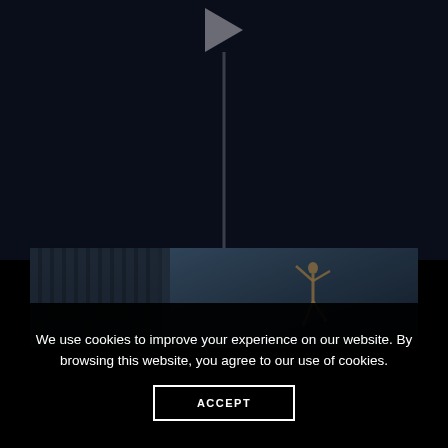[Figure (screenshot): Dark webpage background with a play button icon at top center, a vertical pole/line extending downward, and a city skyline video thumbnail strip showing buildings on the left and a dancer/acrobat figure silhouette against a cloudy sky on the right.]
We use cookies to improve your experience on our website. By browsing this website, you agree to our use of cookies.
ACCEPT